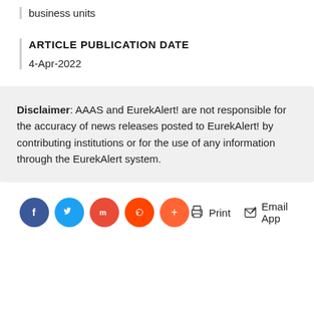business units
ARTICLE PUBLICATION DATE
4-Apr-2022
Disclaimer: AAAS and EurekAlert! are not responsible for the accuracy of news releases posted to EurekAlert! by contributing institutions or for the use of any information through the EurekAlert system.
[Figure (infographic): Social share buttons: Facebook (blue), Twitter (blue), Mix (red-orange), Reddit (orange), plus button (orange-red), Print link, Email App link]